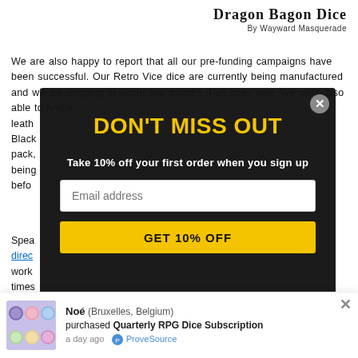Dragon Bagon Dice
By Wayward Masquerade
We are also happy to report that all our pre-funding campaigns have been successful. Our Retro Vice dice are currently being manufactured and will be shipping in about two months if all goes well. We were also able to find e... leath... Black... pack,... being... befo...
[Figure (screenshot): Modal popup with dark background showing 'DON'T MISS OUT' in yellow, 'Take 10% off your first order when you sign up', an email address input field, and a 'GET 10% OFF' yellow button. A close X button is in the top right corner.]
Spea... direc... work... times...
a goo...
[Figure (infographic): Bottom notification bar showing product purchase notification: Noé (Bruxelles, Belgium) purchased Quarterly RPG Dice Subscription a day ago, with dice image and ProveSource branding.]